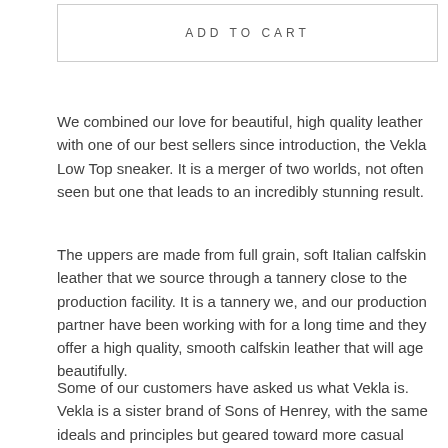ADD TO CART
We combined our love for beautiful, high quality leather with one of our best sellers since introduction, the Vekla Low Top sneaker. It is a merger of two worlds, not often seen but one that leads to an incredibly stunning result.
The uppers are made from full grain, soft Italian calfskin leather that we source through a tannery close to the production facility. It is a tannery we, and our production partner have been working with for a long time and they offer a high quality, smooth calfskin leather that will age beautifully.
Some of our customers have asked us what Vekla is. Vekla is a sister brand of Sons of Henrey, with the same ideals and principles but geared toward more casual shoes. The Vekla Low Top sneaker is an elegant, well built sneaker that will quickly become your favorite pair of shoes. The sneakers